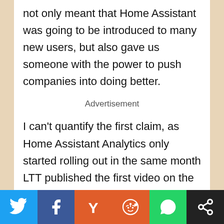not only meant that Home Assistant was going to be introduced to many new users, but also gave us someone with the power to push companies into doing better.
Advertisement
I can't quantify the first claim, as Home Assistant Analytics only started rolling out in the same month LTT published the first video on the subject. But, with over 1.8 million views, many will have heard of
[Figure (infographic): Social share bar with six buttons: Twitter (blue), Facebook (dark blue), Hacker News Y (orange), Reddit (orange-red), WhatsApp (green), Share (dark/black)]